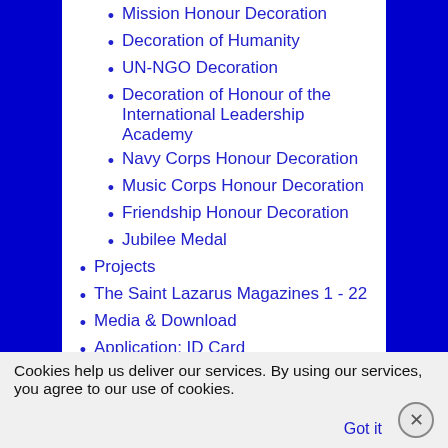Mission Honour Decoration
Decoration of Humanity
UN-NGO Decoration
Decoration of Honour of the International Leadership Academy
Navy Corps Honour Decoration
Music Corps Honour Decoration
Friendship Honour Decoration
Jubilee Medal
Projects
The Saint Lazarus Magazines 1 - 22
Media & Download
Application: ID Card
Legal
Contact
Links
Cookies help us deliver our services. By using our services, you agree to our use of cookies.
Got it